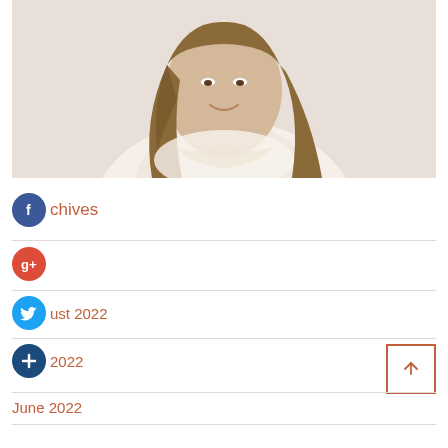[Figure (photo): Portrait photo of a young woman with long brown hair, wearing a white lace top, smiling against a light background]
Archives
August 2022
2022
June 2022